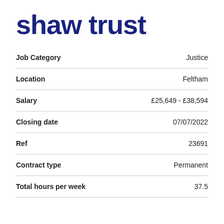shaw trust
| Field | Value |
| --- | --- |
| Job Category | Justice |
| Location | Feltham |
| Salary | £25,649 - £38,594 |
| Closing date | 07/07/2022 |
| Ref | 23691 |
| Contract type | Permanent |
| Total hours per week | 37.5 |